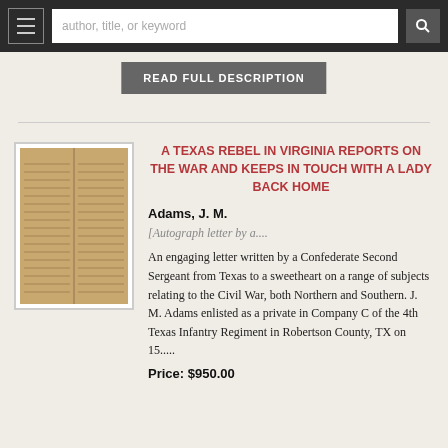author, title, or keyword
READ FULL DESCRIPTION
[Figure (photo): Photograph of an aged handwritten letter document, brownish/tan in color, showing text lines across two columns on aged paper]
A TEXAS REBEL IN VIRGINIA REPORTS ON THE WAR AND KEEPS IN TOUCH WITH A LADY BACK HOME
Adams, J. M.
[Autograph letter by a....
An engaging letter written by a Confederate Second Sergeant from Texas to a sweetheart on a range of subjects relating to the Civil War, both Northern and Southern. J. M. Adams enlisted as a private in Company C of the 4th Texas Infantry Regiment in Robertson County, TX on 15.....
Price: $950.00